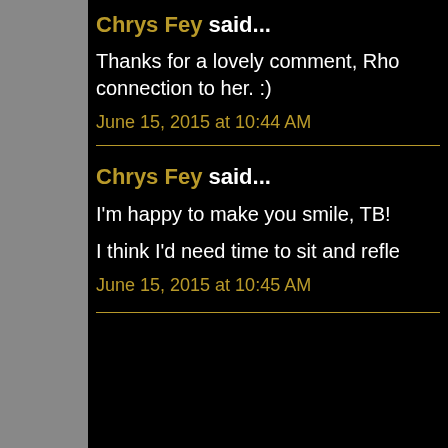Chrys Fey said...
Thanks for a lovely comment, Rho... connection to her. :)
June 15, 2015 at 10:44 AM
Chrys Fey said...
I'm happy to make you smile, TB!
I think I'd need time to sit and reflec...
June 15, 2015 at 10:45 AM